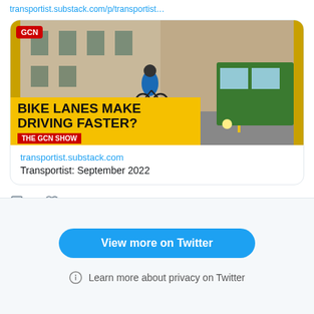transportist.substack.com/p/transportist…
[Figure (screenshot): GCN YouTube thumbnail showing a cyclist on a city street alongside a green bus, with yellow banner text reading 'BIKE LANES MAKE DRIVING FASTER?' and red subtitle 'THE GCN SHOW'. Red GCN logo badge in top-left.]
transportist.substack.com
Transportist: September 2022
3
View more on Twitter
Learn more about privacy on Twitter